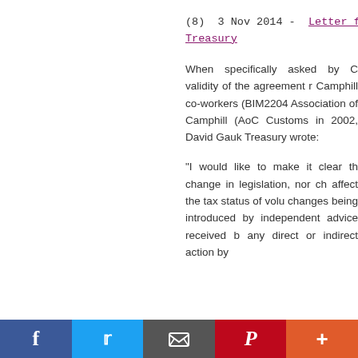(8)  3 Nov 2014 -  Letter from Treasury
When specifically asked by C validity of the agreement r Camphill co-workers (BIM2204 Association of Camphill (AoC Customs in 2002, David Gauk Treasury wrote:
"I would like to make it clear th change in legislation, nor ch affect the tax status of volu changes being introduced by independent advice received b any direct or indirect action by